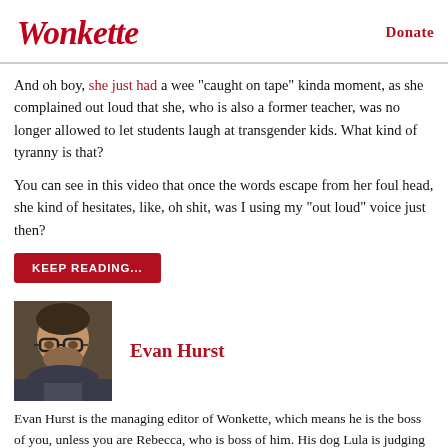Wonkette | Donate
And oh boy, she just had a wee "caught on tape" kinda moment, as she complained out loud that she, who is also a former teacher, was no longer allowed to let students laugh at transgender kids. What kind of tyranny is that?
You can see in this video that once the words escape from her foul head, she kind of hesitates, like, oh shit, was I using my "out loud" voice just then?
KEEP READING...
[Figure (photo): Headshot photo of Evan Hurst, a man with glasses and a beard]
Evan Hurst
Evan Hurst is the managing editor of Wonkette, which means he is the boss of you, unless you are Rebecca, who is boss of him. His dog Lula is judging you right now.
Follow him on Twitter RIGHT HERE.